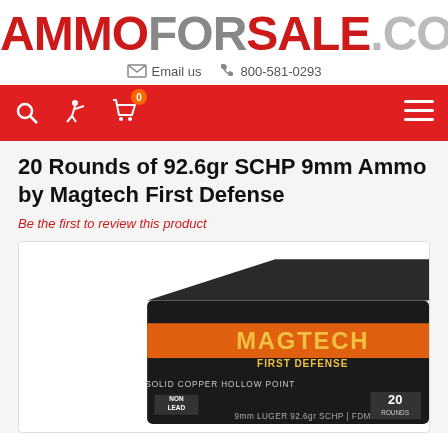AMMOFORSALE.COM
Email us   800-581-0293
20 Rounds of 92.6gr SCHP 9mm Ammo by Magtech First Defense
Be the first to review this product
[Figure (photo): Magtech First Defense 9mm Luger 92.6gr SCHP ammunition box, black packaging with orange and yellow branding, showing text: MAGTECH FIRST DEFENSE, SOLID COPPER HOLLOW POINT, NON LEAD, 20 ROUNDS, 9mm LUGER 92.6gr SCHP]